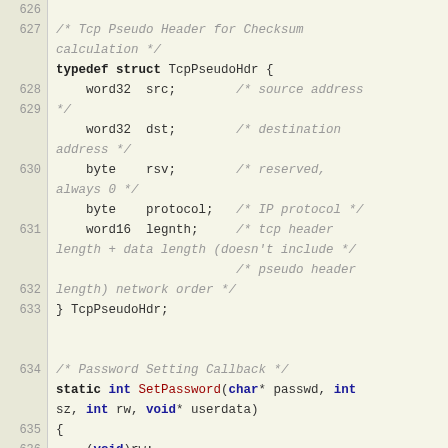[Figure (screenshot): Source code listing showing C code for TcpPseudoHdr struct and SetPassword function, with line numbers 626-642 on the left side. Code uses syntax highlighting with bold keywords, red function names, blue type keywords, and gray italic comments.]